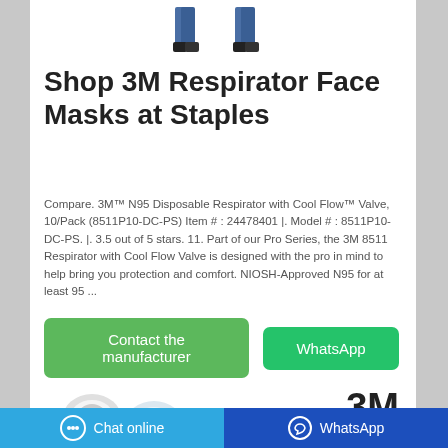[Figure (photo): Two human figures wearing protective equipment/masks, shown from waist down wearing blue jeans and dark shoes]
Shop 3M Respirator Face Masks at Staples
Compare. 3M™ N95 Disposable Respirator with Cool Flow™ Valve, 10/Pack (8511P10-DC-PS) Item # : 24478401 |. Model # : 8511P10-DC-PS. |. 3.5 out of 5 stars. 11. Part of our Pro Series, the 3M 8511 Respirator with Cool Flow Valve is designed with the pro in mind to help bring you protection and comfort. NIOSH-Approved N95 for at least 95 ...
[Figure (illustration): Contact the manufacturer button (green) and WhatsApp button (green)]
[Figure (photo): Small product images of 3M respirator masks at bottom, with 3M brand logo]
Chat online   WhatsApp